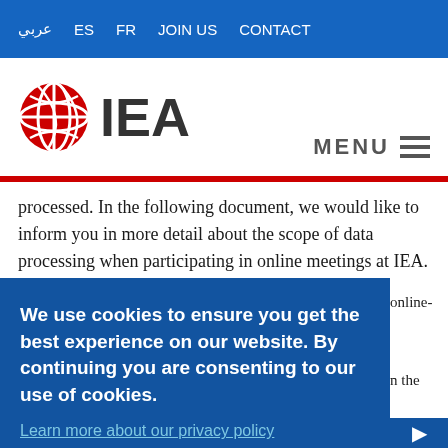عربي  ES  FR  JOIN US  CONTACT
[Figure (logo): IEA logo with red globe icon and IEA text, plus MENU hamburger icon]
processed. In the following document, we would like to inform you in more detail about the scope of data processing when participating in online meetings at IEA.
We use cookies to ensure you get the best experience on our website. By continuing you are consenting to our use of cookies.
Learn more about our privacy policy
OK